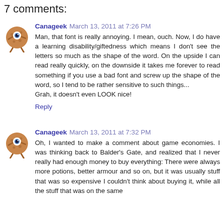7 comments:
Canageek March 13, 2011 at 7:26 PM
Man, that font is really annoying. I mean, ouch. Now, I do have a learning disability/giftedness which means I don't see the letters so much as the shape of the word. On the upside I can read really quickly, on the downside it takes me forever to read something if you use a bad font and screw up the shape of the word, so I tend to be rather sensitive to such things...
Grah, it doesn't even LOOK nice!
Reply
Canageek March 13, 2011 at 7:32 PM
Oh, I wanted to make a comment about game economies. I was thinking back to Balder's Gate, and realized that I never really had enough money to buy everything: There were always more potions, better armour and so on, but it was usually stuff that was so expensive I couldn't think about buying it, while all the stuff that was on the same